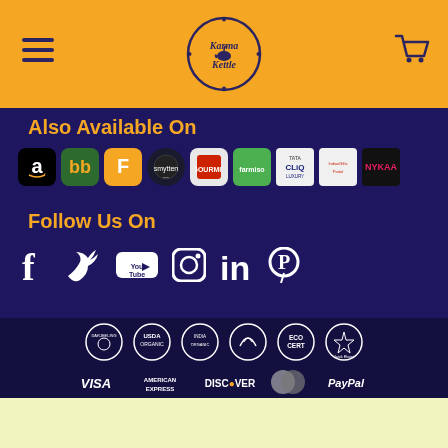[Figure (logo): Karma Kettle website header with hamburger menu, circular logo, and cart icon on orange background]
Also Available On
[Figure (infographic): Row of marketplace logos: Amazon, bigbasket, Flipkart, smytten, red logo, farmiso/green, Tata CLiQ Luxury, IndianGiftsPortal, Nykaa]
Follow Us On
[Figure (infographic): Social media icons: Facebook, Twitter, YouTube, Instagram, LinkedIn, Pinterest]
[Figure (infographic): Certification badges: Darjeeling, USDA Organic, India Organic, Vegan, Ecocert, Jaivikbharat]
[Figure (infographic): Payment method icons: Visa, American Express, Discover, Mastercard, PayPal]